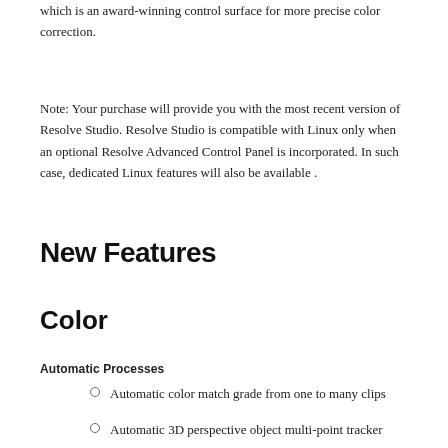which is an award-winning control surface for more precise color correction.
Note: Your purchase will provide you with the most recent version of Resolve Studio. Resolve Studio is compatible with Linux only when an optional Resolve Advanced Control Panel is incorporated. In such case, dedicated Linux features will also be available .
New Features
Color
Automatic Processes
Automatic color match grade from one to many clips
Automatic 3D perspective object multi-point tracker